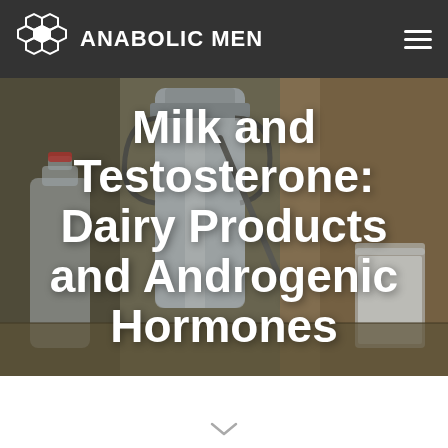ANABOLIC MEN
[Figure (photo): Background photo of dairy items including milk bottles, a large metal milk canister/churn, and a glass of milk, set on a rustic surface with burlap fabric in background]
Milk and Testosterone: Dairy Products and Androgenic Hormones